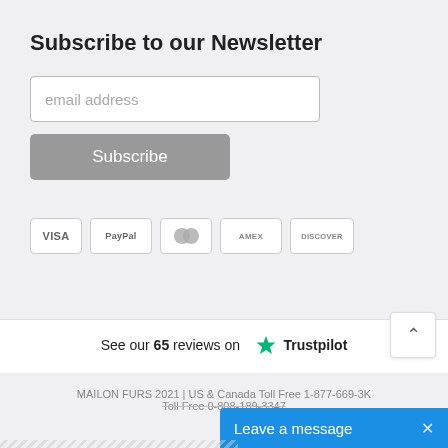Subscribe to our Newsletter
email address
Subscribe
[Figure (other): Payment method icons: VISA, PayPal, Mastercard, American Express, Discover]
See our 65 reviews on ★ Trustpilot
MAILON FURS 2021 | US & Canada Toll Free 1-877-669-3... K  Toll Free 0-808-189-3347
Leave a message  ×